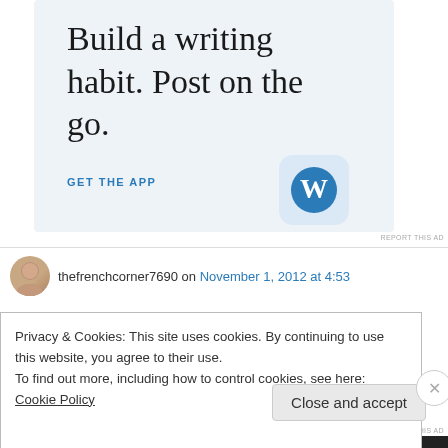[Figure (illustration): WordPress app advertisement banner with light blue background showing text 'Build a writing habit. Post on the go.' with a 'GET THE APP' call-to-action link and WordPress 'W' logo icon on the right.]
REPORT THIS AD
thefrenchcorner7690 on November 1, 2012 at 4:53
Privacy & Cookies: This site uses cookies. By continuing to use this website, you agree to their use.
To find out more, including how to control cookies, see here: Cookie Policy
Close and accept